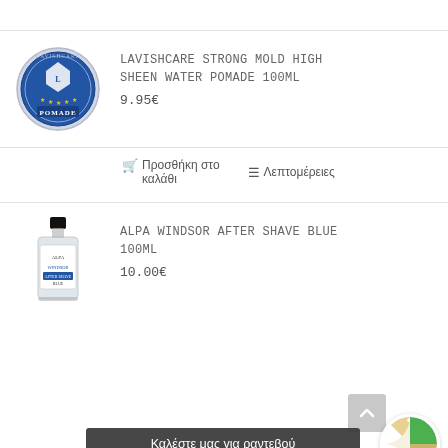[Figure (photo): Circular tin of Lavishcare Strong Mold High Sheen Water Pomade, blue label with ornate design]
LAVISHCARE STRONG MOLD HIGH SHEEN WATER POMADE 100ML
9.95€
🛒 Προσθήκη στο καλάθι   ≡ Λεπτομέρειες
[Figure (photo): Small glass bottle of Alpa Windsor After Shave Blue 100ml]
ALPA WINDSOR AFTER SHAVE BLUE 100ML
10.00€
Καλέστε μας για ραντεβού